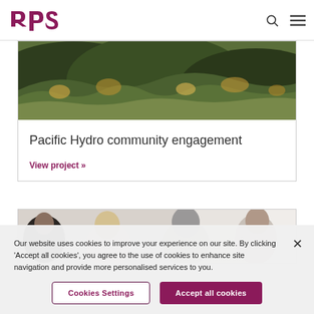rps
[Figure (photo): Aerial landscape photo showing hills with trees in autumn colors]
Pacific Hydro community engagement
View project »
[Figure (photo): Photo of people seen from behind, appearing to be in a meeting or conference]
Our website uses cookies to improve your experience on our site. By clicking 'Accept all cookies', you agree to the use of cookies to enhance site navigation and provide more personalised services to you.
Cookies Settings
Accept all cookies